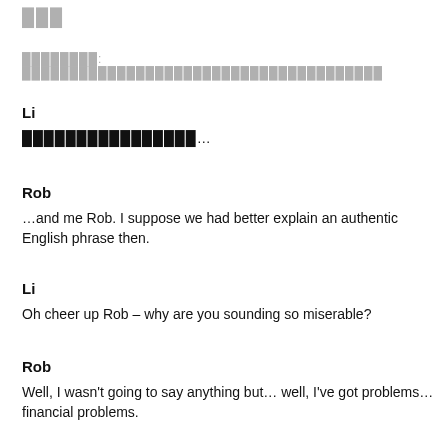███
████████: ██████████████████████████████████████
Li
████████████████…
Rob
…and me Rob. I suppose we had better explain an authentic English phrase then.
Li
Oh cheer up Rob – why are you sounding so miserable?
Rob
Well, I wasn't going to say anything but… well, I've got problems… financial problems.